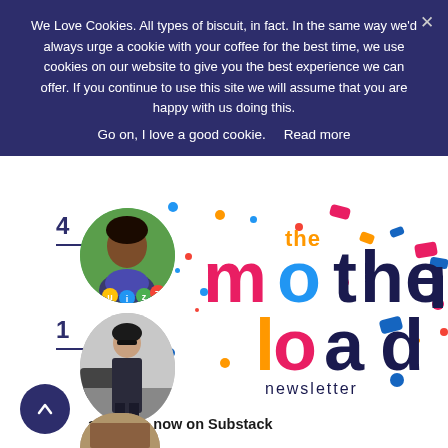We Love Cookies. All types of biscuit, in fact. In the same way we'd always urge a cookie with your coffee for the best time, we use cookies on our website to give you the best experience we can offer. If you continue to use this site we will assume that you are happy with us doing this.
Go on, I love a good cookie.   Read more
[Figure (photo): Circular photo of a young Black girl looking down at colorful quiz game buttons]
[Figure (logo): The Motherload newsletter logo with colorful letters and confetti background]
[Figure (photo): Circular photo of a woman in a dark pantsuit standing on a street]
available now on Substack